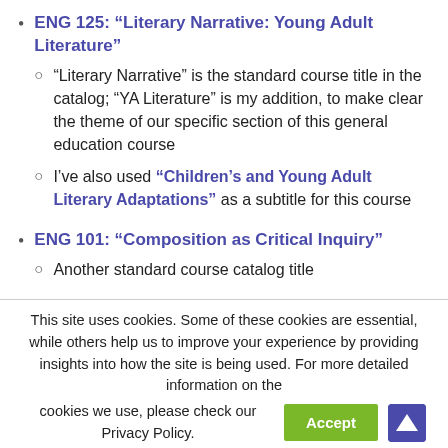ENG 125: “Literary Narrative: Young Adult Literature”
“Literary Narrative” is the standard course title in the catalog; “YA Literature” is my addition, to make clear the theme of our specific section of this general education course
I’ve also used “Children’s and Young Adult Literary Adaptations” as a subtitle for this course
ENG 101: “Composition as Critical Inquiry”
Another standard course catalog title
This site uses cookies. Some of these cookies are essential, while others help us to improve your experience by providing insights into how the site is being used. For more detailed information on the cookies we use, please check our Privacy Policy.